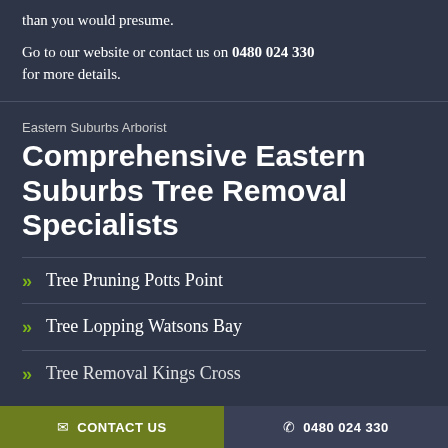than you would presume.

Go to our website or contact us on 0480 024 330 for more details.
Eastern Suburbs Arborist
Comprehensive Eastern Suburbs Tree Removal Specialists
Tree Pruning Potts Point
Tree Lopping Watsons Bay
Tree Removal Kings Cross
CONTACT US   0480 024 330